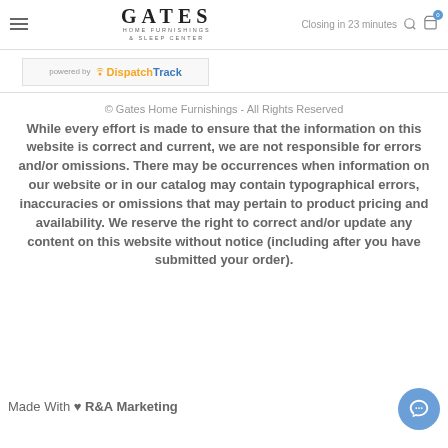GATES HOME FURNISHINGS & SLEEP CENTER — Closing in 23 minutes
[Figure (logo): DispatchTrack powered-by banner with wifi icon, orange 'Dispatch' and blue 'Track' text]
© Gates Home Furnishings - All Rights Reserved
While every effort is made to ensure that the information on this website is correct and current, we are not responsible for errors and/or omissions. There may be occurrences when information on our website or in our catalog may contain typographical errors, inaccuracies or omissions that may pertain to product pricing and availability. We reserve the right to correct and/or update any content on this website without notice (including after you have submitted your order).
Made With ♥ R&A Marketing